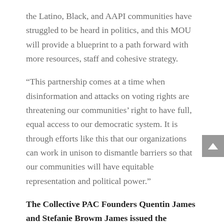the Latino, Black, and AAPI communities have struggled to be heard in politics, and this MOU will provide a blueprint to a path forward with more resources, staff and cohesive strategy.
“This partnership comes at a time when disinformation and attacks on voting rights are threatening our communities’ right to have full, equal access to our democratic system. It is through efforts like this that our organizations can work in unison to dismantle barriers so that our communities will have equitable representation and political power.”
The Collective PAC Founders Quentin James and Stefanie Browm James issued the following